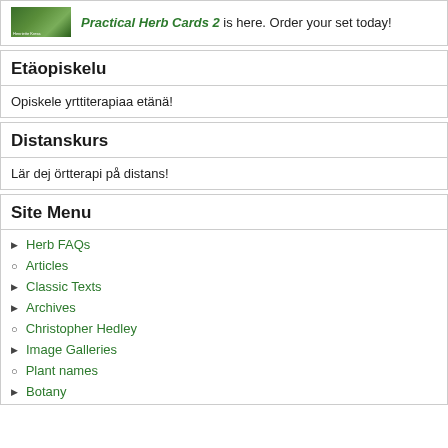Practical Herb Cards 2 is here. Order your set today!
Etäopiskelu
Opiskele yrttiterapiaa etänä!
Distanskurs
Lär dej örtterapi på distans!
Site Menu
Herb FAQs
Articles
Classic Texts
Archives
Christopher Hedley
Image Galleries
Plant names
Botany